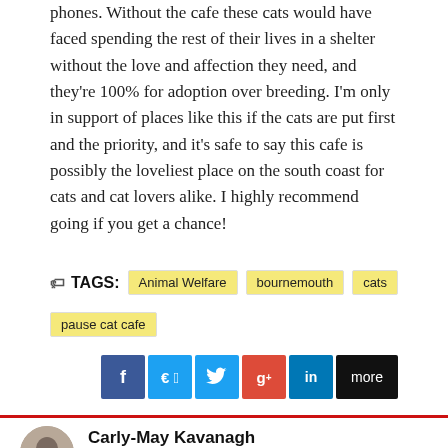phones. Without the cafe these cats would have faced spending the rest of their lives in a shelter without the love and affection they need, and they're 100% for adoption over breeding. I'm only in support of places like this if the cats are put first and the priority, and it's safe to say this cafe is possibly the loveliest place on the south coast for cats and cat lovers alike. I highly recommend going if you get a chance!
TAGS: Animal Welfare   bournemouth   cats   pause cat cafe
[Figure (infographic): Social share buttons: Facebook (blue), Twitter (light blue), Google+ (red), LinkedIn (blue), more (black)]
Carly-May Kavanagh
Third year PAIR student and head of